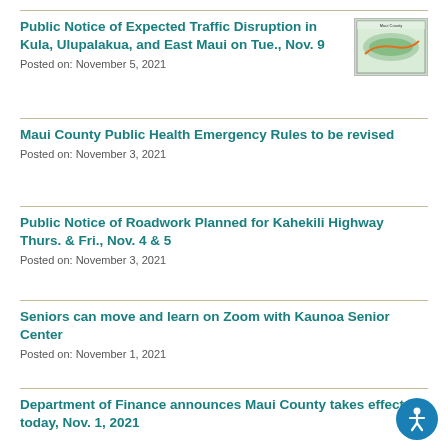Public Notice of Expected Traffic Disruption in Kula, Ulupalakua, and East Maui on Tue., Nov. 9
Posted on: November 5, 2021
Maui County Public Health Emergency Rules to be revised
Posted on: November 3, 2021
Public Notice of Roadwork Planned for Kahekili Highway Thurs. & Fri., Nov. 4 & 5
Posted on: November 3, 2021
Seniors can move and learn on Zoom with Kaunoa Senior Center
Posted on: November 1, 2021
Department of Finance announces Maui County takes effect today, Nov. 1, 2021